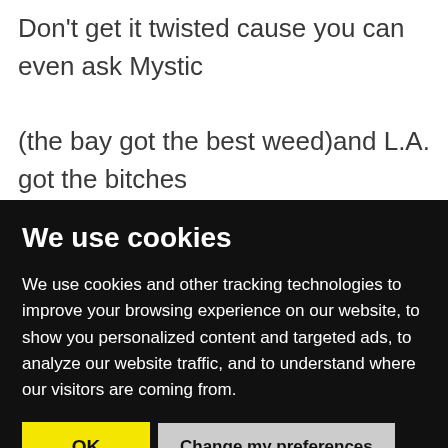Don't get it twisted cause you can even ask Mystic (the bay got the best weed)and L.A. got the bitches Tricks, mac's, hustla's, snitches, hoodrat killaz, drug
We use cookies
We use cookies and other tracking technologies to improve your browsing experience on our website, to show you personalized content and targeted ads, to analyze our website traffic, and to understand where our visitors are coming from.
OK | Change my preferences